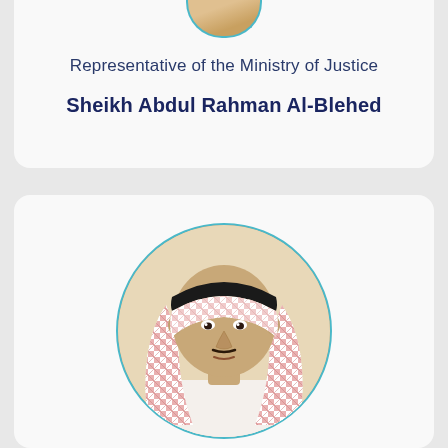[Figure (photo): Partial circular photo of a person at the top of the page, cropped at the top edge]
Representative of the Ministry of Justice
Sheikh Abdul Rahman Al-Blehed
[Figure (photo): Circular portrait photo of Sheikh wearing traditional Saudi attire (thobe and keffiyeh), looking slightly downward]